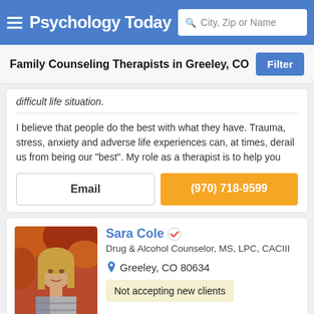Psychology Today — City, Zip or Name search
Family Counseling Therapists in Greeley, CO
difficult life situation.
I believe that people do the best with what they have. Trauma, stress, anxiety and adverse life experiences can, at times, derail us from being our "best". My role as a therapist is to help you
Email
(970) 718-9599
[Figure (photo): Profile photo of Sara Cole, a woman with blonde hair against a fall foliage background]
Sara Cole
Drug & Alcohol Counselor, MS, LPC, CACIII
Greeley, CO 80634
Not accepting new clients
Treatment Specialization Includes: *Depression *Anxiety *Co-